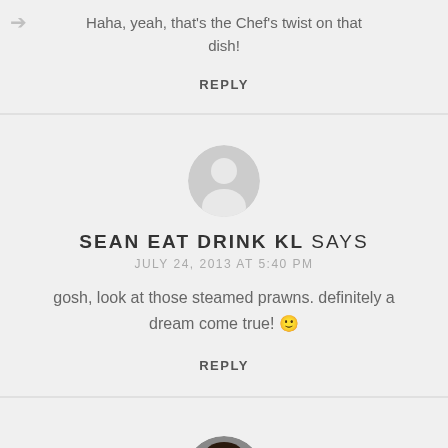Haha, yeah, that's the Chef's twist on that dish!
REPLY
[Figure (illustration): Generic grey avatar/person icon in a circle, representing an anonymous commenter named Sean Eat Drink KL]
SEAN EAT DRINK KL SAYS
JULY 24, 2013 AT 5:40 PM
gosh, look at those steamed prawns. definitely a dream come true! 🙂
REPLY
[Figure (photo): Circular profile photo of a woman with dark hair, representing commenter Pureglutton]
PUREGLUTTON SAYS